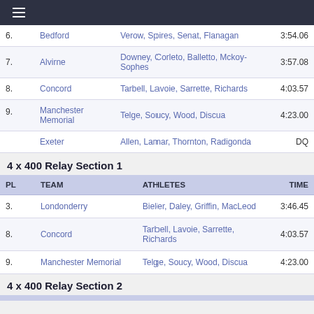≡ (navigation menu)
| PL | TEAM | ATHLETES | TIME |
| --- | --- | --- | --- |
| 6. | Bedford | Verow, Spires, Senat, Flanagan | 3:54.06 |
| 7. | Alvirne | Downey, Corleto, Balletto, Mckoy-Sophes | 3:57.08 |
| 8. | Concord | Tarbell, Lavoie, Sarrette, Richards | 4:03.57 |
| 9. | Manchester Memorial | Telge, Soucy, Wood, Discua | 4:23.00 |
|  | Exeter | Allen, Lamar, Thornton, Radigonda | DQ |
4 x 400 Relay Section 1
| PL | TEAM | ATHLETES | TIME |
| --- | --- | --- | --- |
| 3. | Londonderry | Bieler, Daley, Griffin, MacLeod | 3:46.45 |
| 8. | Concord | Tarbell, Lavoie, Sarrette, Richards | 4:03.57 |
| 9. | Manchester Memorial | Telge, Soucy, Wood, Discua | 4:23.00 |
4 x 400 Relay Section 2